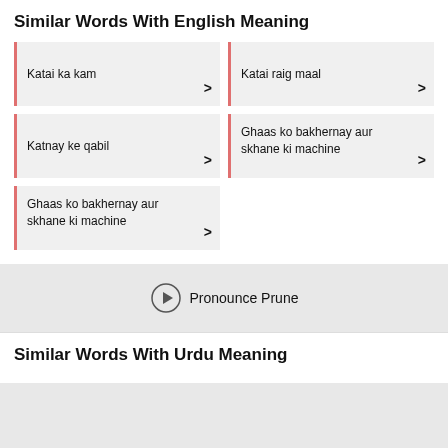Similar Words With English Meaning
Katai ka kam >
Katai raig maal >
Katnay ke qabil >
Ghaas ko bakhernay aur skhane ki machine >
Ghaas ko bakhernay aur skhane ki machine >
Pronounce Prune
Similar Words With Urdu Meaning